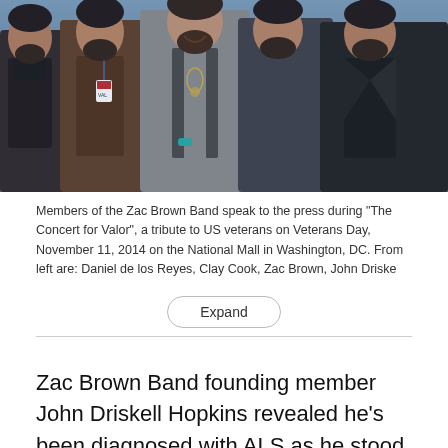[Figure (photo): Group photo of members of the Zac Brown Band at The Concert for Valor, Veterans Day November 11 2014, at the National Mall in Washington DC. Five men standing together, some wearing jackets, one with a lanyard/badge.]
Members of the Zac Brown Band speak to the press during "The Concert for Valor", a tribute to US veterans on Veterans Day, November 11, 2014 on the National Mall in Washington, DC. From left are: Daniel de los Reyes, Clay Cook, Zac Brown, John Driske
Zac Brown Band founding member John Driskell Hopkins revealed he's been diagnosed with ALS as he stood alongside bandmates from the country music group during a short video shared to the band's